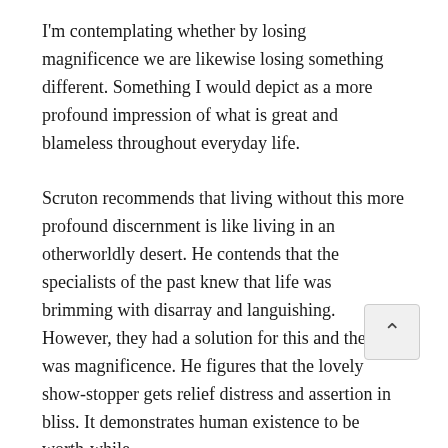I'm contemplating whether by losing magnificence we are likewise losing something different. Something I would depict as a more profound impression of what is great and blameless throughout everyday life.
Scruton recommends that living without this more profound discernment is like living in an otherworldly desert. He contends that the specialists of the past knew that life was brimming with disarray and languishing. However, they had a solution for this and the cure was magnificence. He figures that the lovely show-stopper gets relief distress and assertion in bliss. It demonstrates human existence to be worth-while.
Excellence – An indication of extraordinary reality Attractiveness is entirely subjective viewer. Yet, is excellence just something abstract? Is there likewise an objective reality to it?